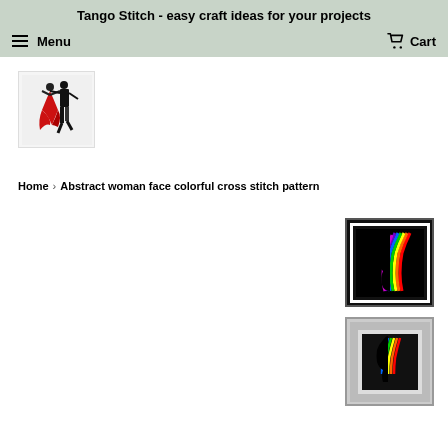Tango Stitch - easy craft ideas for your projects
Menu
Cart
[Figure (logo): Tango Stitch logo with two dancers, a woman in a red dress and a man in black, dancing tango]
Home › Abstract woman face colorful cross stitch pattern
[Figure (photo): Abstract woman face colorful cross stitch pattern product image on black background with rainbow-colored lines]
[Figure (photo): Abstract woman face colorful cross stitch pattern smaller thumbnail on grey background]